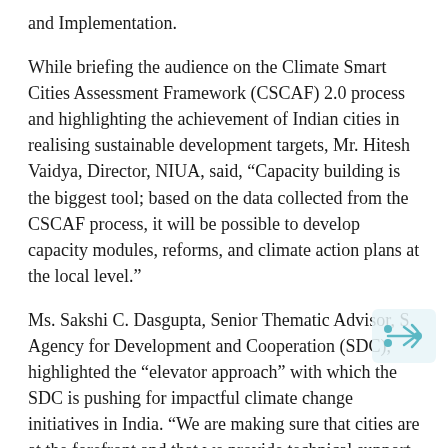and Implementation.
While briefing the audience on the Climate Smart Cities Assessment Framework (CSCAF) 2.0 process and highlighting the achievement of Indian cities in realising sustainable development targets, Mr. Hitesh Vaidya, Director, NIUA, said, "Capacity building is the biggest tool; based on the data collected from the CSCAF process, it will be possible to develop capacity modules, reforms, and climate action plans at the local level."
Ms. Sakshi C. Dasgupta, Senior Thematic Advisor, S[wiss] Agency for Development and Cooperation (SDC), highlighted the “elevator approach” with which the SDC is pushing for impactful climate change initiatives in India. “We are making sure that cities are at the forefront and that we provide technical support within the country,” she said.
In the session on Climate Resilient Urban Planning and Action – Lessons from Cities, Mr. Amit Arora...